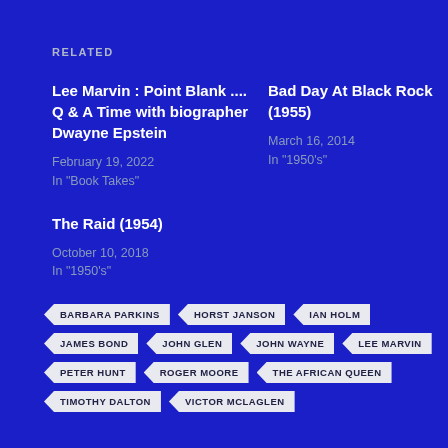RELATED
Lee Marvin : Point Blank .... Q & A Time with biographer Dwayne Epstein
February 19, 2022
In "Book Takes"
Bad Day At Black Rock (1955)
March 16, 2014
In "1950's"
The Raid (1954)
October 10, 2018
In "1950's"
BARBARA PARKINS
HORST JANSON
IAN HOLM
JAMES BOND
JOHN GLEN
JOHN WAYNE
LEE MARVIN
PETER HUNT
ROGER MOORE
THE AFRICAN QUEEN
TIMOTHY DALTON
VICTOR MCLAGLEN